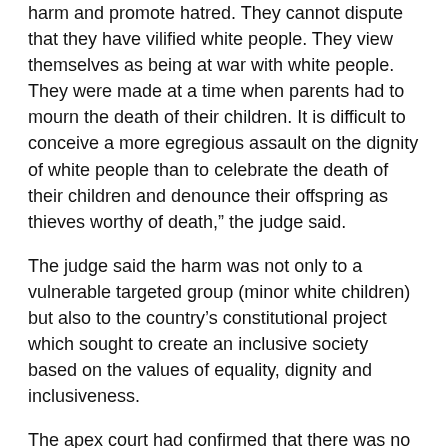harm and promote hatred. They cannot dispute that they have vilified white people. They view themselves as being at war with white people. They were made at a time when parents had to mourn the death of their children. It is difficult to conceive a more egregious assault on the dignity of white people than to celebrate the death of their children and denounce their offspring as thieves worthy of death,” the judge said.
The judge said the harm was not only to a vulnerable targeted group (minor white children) but also to the country’s constitutional project which sought to create an inclusive society based on the values of equality, dignity and inclusiveness.
The apex court had confirmed that there was no need to establish a causal link between the expression and actual harm committed.
“The respondents turned a tragic accident into a